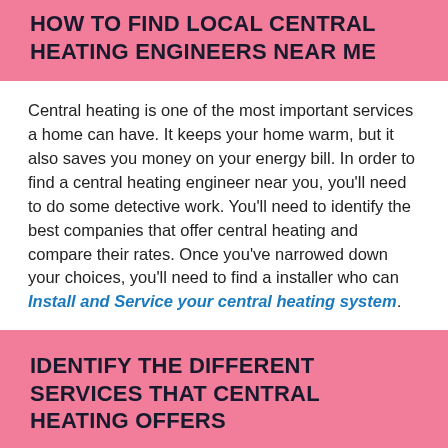HOW TO FIND LOCAL CENTRAL HEATING ENGINEERS NEAR ME
Central heating is one of the most important services a home can have. It keeps your home warm, but it also saves you money on your energy bill. In order to find a central heating engineer near you, you'll need to do some detective work. You'll need to identify the best companies that offer central heating and compare their rates. Once you've narrowed down your choices, you'll need to find a installer who can Install and Service your central heating system.
IDENTIFY THE DIFFERENT SERVICES THAT CENTRAL HEATING OFFERS